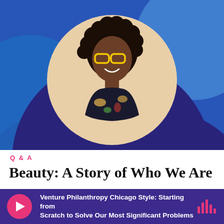[Figure (photo): Portrait photo of a smiling Black woman with yellow cat-eye glasses and curly hair, wearing a floral top, set against a circular beige frame on a blue background with abstract blue circle shapes]
Q & A
Beauty: A Story of Who We Are
Venture Philanthropy Chicago Style: Starting from Scratch to Solve Our Most Significant Problems